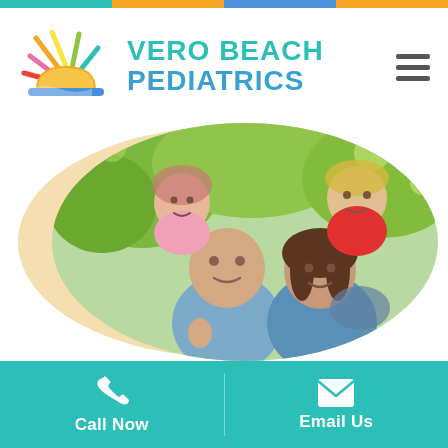[Figure (logo): Vero Beach Pediatrics logo with sun/beach icon and colorful text]
[Figure (photo): A smiling family of four — father, mother, and two children — outdoors with green trees in background, displayed in an oval/circle crop]
Call Now
Email Us